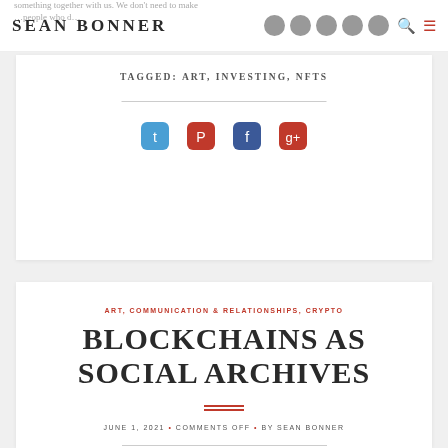SEAN BONNER
TAGGED: ART, INVESTING, NFTS
[Figure (other): Social sharing icons: Twitter, Pinterest, Facebook, Google+]
ART, COMMUNICATION & RELATIONSHIPS, CRYPTO
BLOCKCHAINS AS SOCIAL ARCHIVES
JUNE 1, 2021 • COMMENTS OFF • BY SEAN BONNER